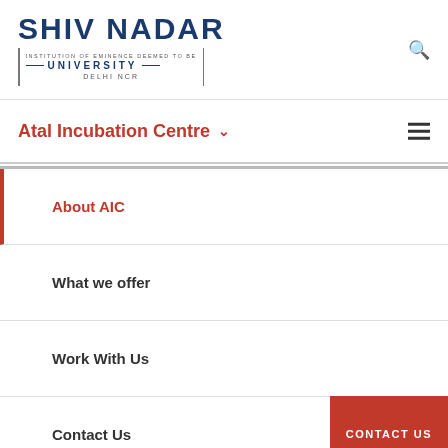[Figure (logo): Shiv Nadar Institution of Eminence Deemed to be University Delhi NCR logo]
Atal Incubation Centre
About AIC
What we offer
Work With Us
Contact Us